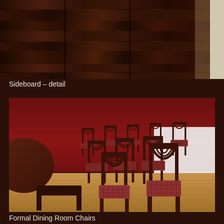[Figure (photo): Close-up detail of a dark mahogany wood sideboard with panel grain texture, occupying the top portion of the page]
Sideboard – detail
[Figure (photo): Photograph of multiple formal dining room chairs with dark mahogany frames and red upholstered seats, arranged in rows in a room with red walls and white wainscoting, with a round table visible on the left]
Formal Dining Room Chairs